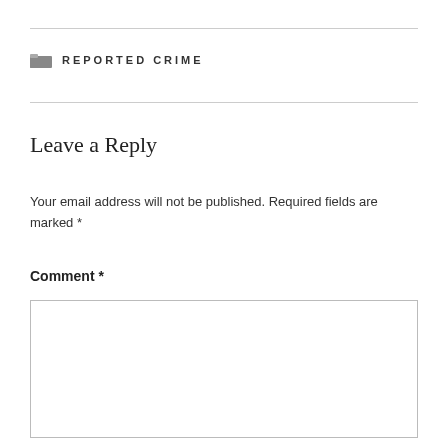REPORTED CRIME
Leave a Reply
Your email address will not be published. Required fields are marked *
Comment *